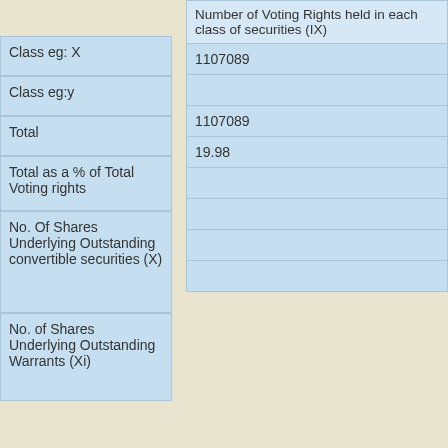|  | Number of Voting Rights held in each class of securities (IX) |
| --- | --- |
| Class eg: X | 1107089 |
| Class eg:y |  |
| Total | 1107089 |
| Total as a % of Total Voting rights | 19.98 |
| No. Of Shares Underlying Outstanding convertible securities (X) |  |
| No. of Shares Underlying Outstanding Warrants (Xi) |  |
| No. Of Shares Underlying Outstanding convertible securities and No. Of Warrants (Xi) (a) |  |
| First row Mi... |  |